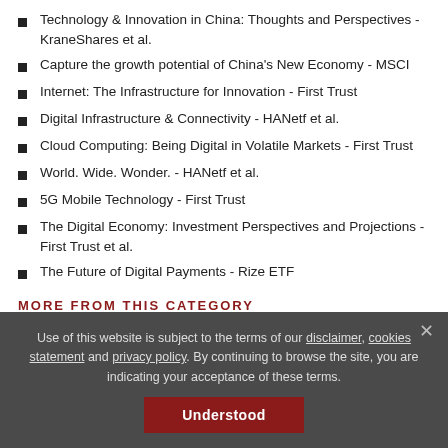Technology & Innovation in China: Thoughts and Perspectives - KraneShares et al.
Capture the growth potential of China's New Economy - MSCI
Internet: The Infrastructure for Innovation - First Trust
Digital Infrastructure & Connectivity - HANetf et al.
Cloud Computing: Being Digital in Volatile Markets - First Trust
World. Wide. Wonder. - HANetf et al.
5G Mobile Technology - First Trust
The Digital Economy: Investment Perspectives and Projections - First Trust et al.
The Future of Digital Payments - Rize ETF
MORE FROM THIS CATEGORY
Use of this website is subject to the terms of our disclaimer, cookies statement and privacy policy. By continuing to browse the site, you are indicating your acceptance of these terms.
Understood